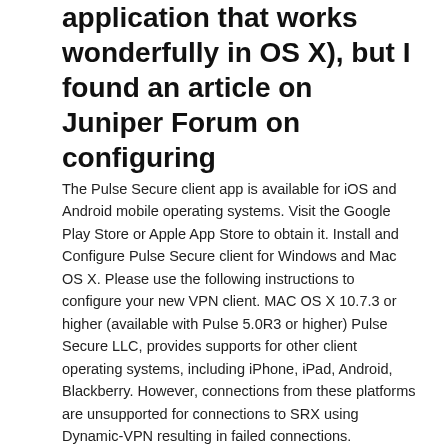application that works wonderfully in OS X), but I found an article on Juniper Forum on configuring
The Pulse Secure client app is available for iOS and Android mobile operating systems. Visit the Google Play Store or Apple App Store to obtain it. Install and Configure Pulse Secure client for Windows and Mac OS X. Please use the following instructions to configure your new VPN client. MAC OS X 10.7.3 or higher (available with Pulse 5.0R3 or higher) Pulse Secure LLC, provides supports for other client operating systems, including iPhone, iPad, Android, Blackberry. However, connections from these platforms are unsupported for connections to SRX using Dynamic-VPN resulting in failed connections. vSRX,SRX Series. Understanding IPsec VPNs with NCP Exclusive Remote Access Client , Understanding SSL Remote Access VPNs with NCP Exclusive Remote Access Client. Example: Configuring the SRX Series Device for NCP Exclusive Remote Access Client, with VPN Client. MAC OS